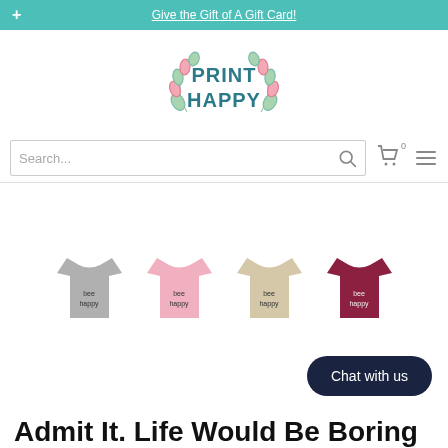+ Give the Gift of A Gift Card!
[Figure (logo): Print Happy logo with decorative laurel branches and teal text]
[Figure (screenshot): Search bar with search icon, cart icon showing 0 items, and menu/hamburger icon]
[Figure (photo): Four t-shirts in gray, pink, tan/beige, and maroon/burgundy colors each with a printed graphic]
Chat with us
Admit It. Life Would Be Boring